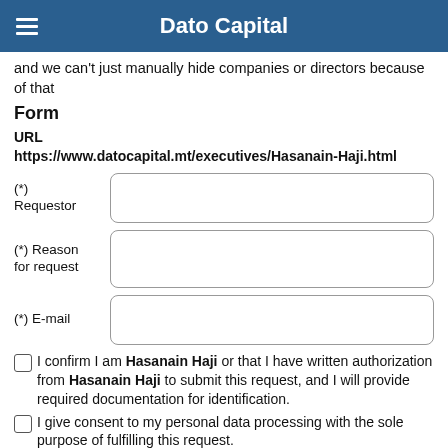Dato Capital
and we can't just manually hide companies or directors because of that
Form
URL
https://www.datocapital.mt/executives/Hasanain-Haji.html
(*) Requestor
(*) Reason for request
(*) E-mail
I confirm I am Hasanain Haji or that I have written authorization from Hasanain Haji to submit this request, and I will provide required documentation for identification.
I give consent to my personal data processing with the sole purpose of fulfilling this request.